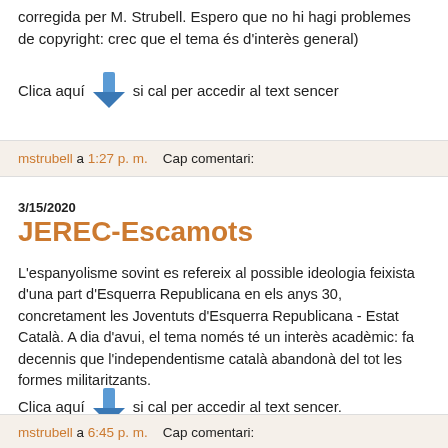corregida per M. Strubell. Espero que no hi hagi problemes de copyright: crec que el tema és d'interès general)
Clica aquí [icon] si cal per accedir al text sencer
mstrubell a 1:27 p. m.    Cap comentari:
3/15/2020
JEREC-Escamots
L'espanyolisme sovint es refereix al possible ideologia feixista d'una part d'Esquerra Republicana en els anys 30, concretament les Joventuts d'Esquerra Republicana - Estat Català. A dia d'avui, el tema només té un interès acadèmic: fa decennis que l'independentisme català abandonà del tot les formes militaritzants.
Clica aquí [icon] si cal per accedir al text sencer.
mstrubell a 6:45 p. m.    Cap comentari: